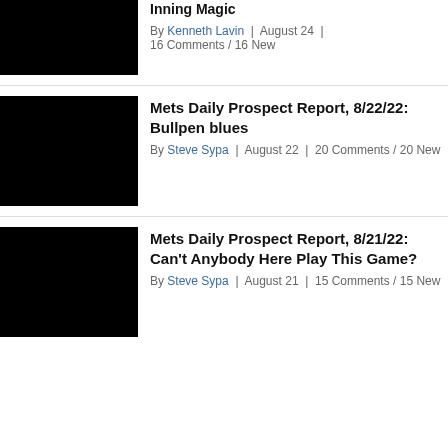[Figure (photo): Black thumbnail image for first article (partially visible at top)]
Inning Magic
By Kenneth Lavin | August 24 | 16 Comments / 16 New
[Figure (photo): Black thumbnail image for second article]
Mets Daily Prospect Report, 8/22/22: Bullpen blues
By Steve Sypa | August 22 | 20 Comments / 20 New
[Figure (photo): Black thumbnail image for third article]
Mets Daily Prospect Report, 8/21/22: Can't Anybody Here Play This Game?
By Steve Sypa | August 21 | 15 Comments / 15 New